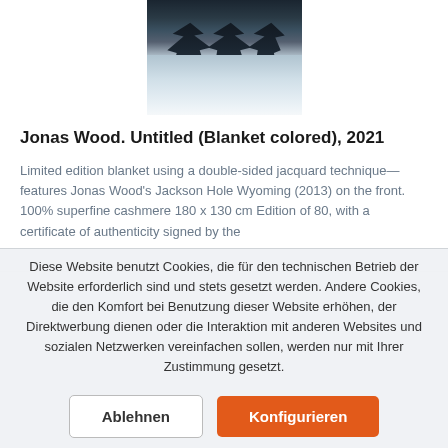[Figure (photo): Snowy mountain landscape with dark conifer trees against white snow, appears to be Jackson Hole Wyoming winter scene]
Jonas Wood. Untitled (Blanket colored), 2021
Limited edition blanket using a double-sided jacquard technique—features Jonas Wood's Jackson Hole Wyoming (2013) on the front. 100% superfine cashmere 180 x 130 cm Edition of 80, with a certificate of authenticity signed by the
Diese Website benutzt Cookies, die für den technischen Betrieb der Website erforderlich sind und stets gesetzt werden. Andere Cookies, die den Komfort bei Benutzung dieser Website erhöhen, der Direktwerbung dienen oder die Interaktion mit anderen Websites und sozialen Netzwerken vereinfachen sollen, werden nur mit Ihrer Zustimmung gesetzt.
Ablehnen
Konfigurieren